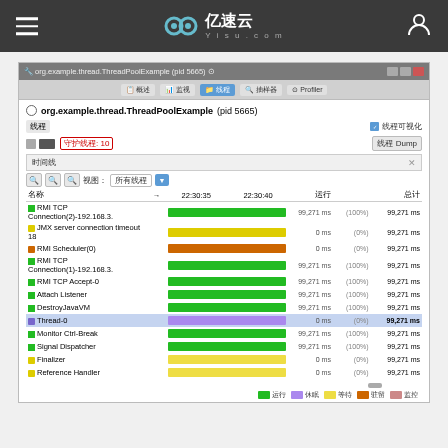亿速云 Yisu.com
[Figure (screenshot): JVisualVM screenshot showing thread profiling for org.example.thread.ThreadPoolExample (pid 5665). Thread timeline with 12 threads listed: RMI TCP Connection(2)-192.168.3., JMX server connection timeout 18, RMI Scheduler(0), RMI TCP Connection(1)-192.168.3., RMI TCP Accept-0, Attach Listener, DestroyJavaVM, Thread-0 (highlighted), Monitor Ctrl-Break, Signal Dispatcher, Finalizer, Reference Handler. Shows runtime and total columns with values like 99,271 ms (100%) and 0 ms (0%).]